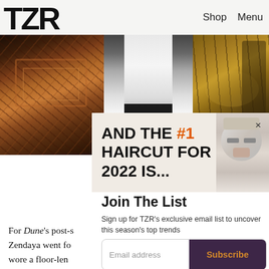TZR — Shop   Menu
[Figure (photo): Three-panel photo strip showing a patterned rug/carpet on the left, a fashion figure in white dress and black pants in the center, and a wood interior with a chair on the right]
AND THE #1 HAIRCUT FOR 2022 IS...
Join The List
Sign up for TZR's exclusive email list to uncover this season's top trends
For Dune's post-s Zendaya went fo wore a floor-len with high-waisted slim black leather pants. In usual